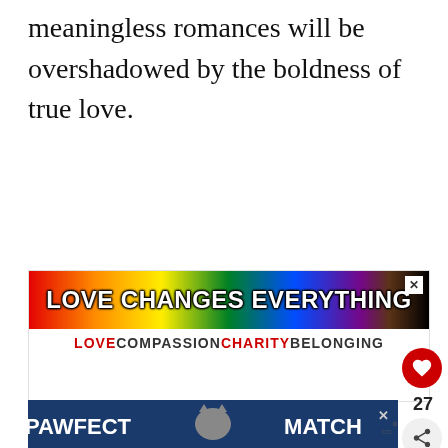meaningless romances will be overshadowed by the boldness of true love.
[Figure (other): Advertisement banner with rainbow gradient background reading 'LOVE CHANGES EVERYTHING' and subtitle 'LOVE COMPASSION CHARITY BELONGING']
[Figure (other): Social media like button (red circle with heart icon) showing 27 likes, and a share button below]
[Figure (other): Bottom advertisement banner with dark blue background reading 'PAWFECT MATCH' with a cat graphic]